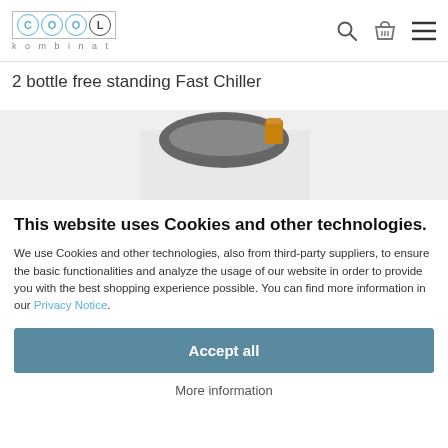COOL kombinat — navigation header with search, basket, and menu icons
2 bottle free standing Fast Chiller
[Figure (photo): Partial view of a bottle chiller product image, showing top of device with a bottle cap visible, against a light grey background]
This website uses Cookies and other technologies.
We use Cookies and other technologies, also from third-party suppliers, to ensure the basic functionalities and analyze the usage of our website in order to provide you with the best shopping experience possible. You can find more information in our Privacy Notice.
Accept all
More information